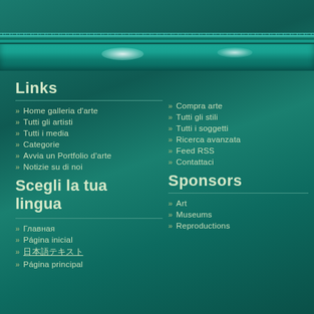[Figure (illustration): Teal/green decorative website background with ornamental top bar, shelf with light glare effects]
Links
Home galleria d'arte
Tutti gli artisti
Tutti i media
Categorie
Avvia un Portfolio d'arte
Notizie su di noi
Compra arte
Tutti gli stili
Tutti i soggetti
Ricerca avanzata
Feed RSS
Contattaci
Scegli la tua lingua
Sponsors
Главная
Página inicial
日本語テキスト
Página principal
Art
Museums
Reproductions